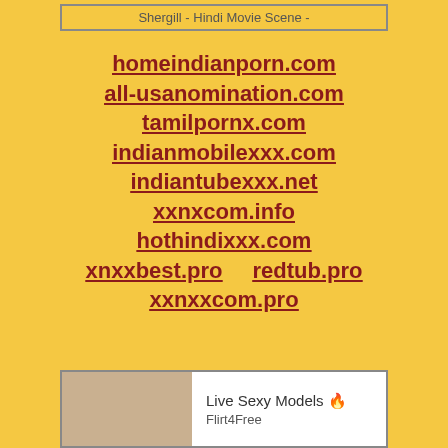Shergill - Hindi Movie Scene -
homeindianporn.com
all-usanomination.com
tamilpornx.com
indianmobilexxx.com
indiantubexxx.net
xxnxcom.info
hothindixxx.com
xnxxbest.pro
redtub.pro
xxnxxcom.pro
[Figure (photo): Partial photo of a person, bottom banner advertisement for Flirt4Free with text 'Live Sexy Models' and 'Flirt4Free']